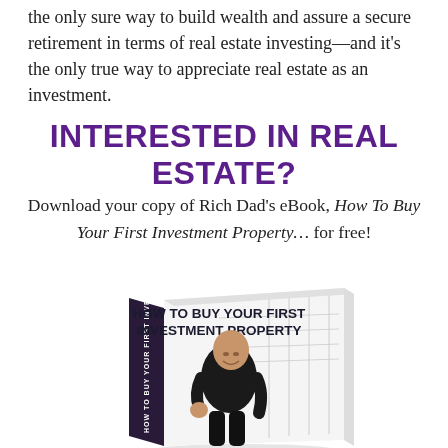the only sure way to build wealth and assure a secure retirement in terms of real estate investing—and it's the only true way to appreciate real estate as an investment.
INTERESTED IN REAL ESTATE?
Download your copy of Rich Dad's eBook, How To Buy Your First Investment Property... for free!
[Figure (illustration): 3D book cover of 'How To Buy Your First Investment Property' by Rich Dad, showing a man in a black shirt standing in front of a building outline, with the title on the cover and spine.]